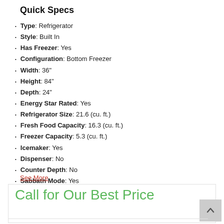Quick Specs
Type: Refrigerator
Style: Built In
Has Freezer: Yes
Configuration: Bottom Freezer
Width: 36"
Height: 84"
Depth: 24"
Energy Star Rated: Yes
Refrigerator Size: 21.6 (cu. ft.)
Fresh Food Capacity: 16.3 (cu. ft.)
Freezer Capacity: 5.3 (cu. ft.)
Icemaker: Yes
Dispenser: No
Counter Depth: No
Sabbath Mode: Yes
WiFi Connected: Yes
See More
Call for Our Best Price